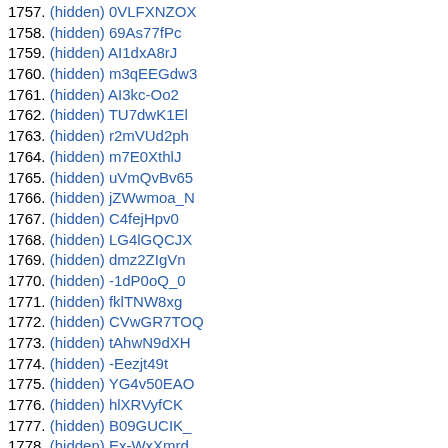1757. (hidden) 0VLFXNZOX
1758. (hidden) 69As77fPc
1759. (hidden) AI1dxA8rJ
1760. (hidden) m3qEEGdw3
1761. (hidden) AI3kc-Oo2
1762. (hidden) TU7dwK1El
1763. (hidden) r2mVUd2ph
1764. (hidden) m7E0XthlJ
1765. (hidden) uVmQvBv65
1766. (hidden) jZWwmoa_N
1767. (hidden) C4fejHpv0
1768. (hidden) LG4lGQCJX
1769. (hidden) dmz2ZIgVn
1770. (hidden) -1dP0oQ_0
1771. (hidden) fklTNW8xg
1772. (hidden) CVwGR7TOQ
1773. (hidden) tAhwN9dXH
1774. (hidden) -Eezjt49t
1775. (hidden) YG4v50EAO
1776. (hidden) hlXRVyfCK
1777. (hidden) B09GUCIK_
1778. (hidden) Ex-WxXmrd
1779. (hidden) 33UYZirJB
1780. (hidden) kopC7SUvd
1781. (hidden) 2g55HtBHh